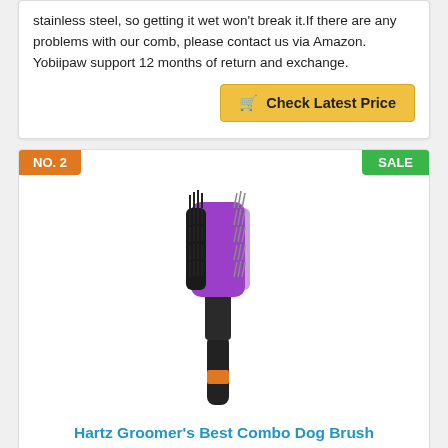stainless steel, so getting it wet won't break it.If there are any problems with our comb, please contact us via Amazon. Yobiipaw support 12 months of return and exchange.
[Figure (other): Check Latest Price button with shopping cart icon, yellow/gold background]
NO. 2
SALE
[Figure (photo): Hartz Groomer's Best Combo Dog Brush - a double-sided brush with purple and black handle, bristles on one side and wire pins on the other]
Hartz Groomer's Best Combo Dog Brush